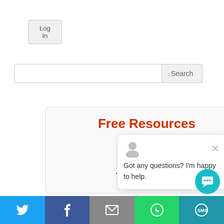Log In
Forgot Password
Search
Free Resources
Super...
Ability t...
That Sells
Got any questions? I'm happy to help.
[Figure (screenshot): Social sharing bar at bottom with Twitter, Facebook, Email, WhatsApp, SMS icons and a chat bubble button]